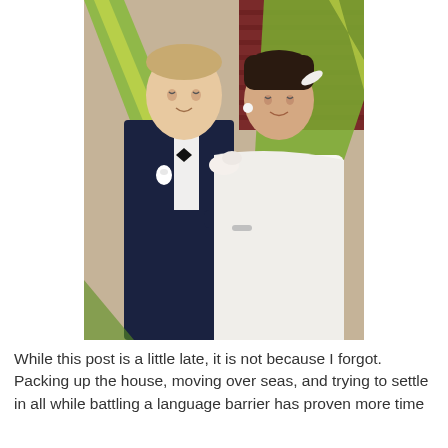[Figure (photo): Wedding photo of a couple in formal attire — groom in dark navy tuxedo with bow tie and white boutonniere, bride in white strapless gown with flower detail on shoulder. They are framed by large green and yellow palm leaves, standing against a stone wall with a dark red shutter behind them. The bride looks up at the groom who looks down at her.]
While this post is a little late, it is not because I forgot. Packing up the house, moving over seas, and trying to settle in all while battling a language barrier has proven more time